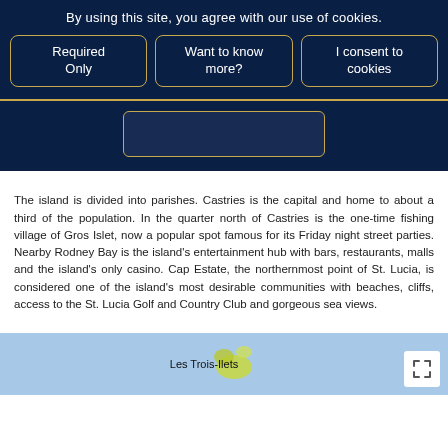By using this site, you agree with our use of cookies.
Required Only
Want to know more?
I consent to cookies
[Figure (screenshot): Search input box with gold border on dark navy background]
The island is divided into parishes. Castries is the capital and home to about a third of the population. In the quarter north of Castries is the one-time fishing village of Gros Islet, now a popular spot famous for its Friday night street parties. Nearby Rodney Bay is the island’s entertainment hub with bars, restaurants, malls and the island’s only casino. Cap Estate, the northernmost point of St. Lucia, is considered one of the island’s most desirable communities with beaches, cliffs, access to the St. Lucia Golf and Country Club and gorgeous sea views.
[Figure (map): Map showing Les Trois-Ilets location on a blue background with island shape visible]